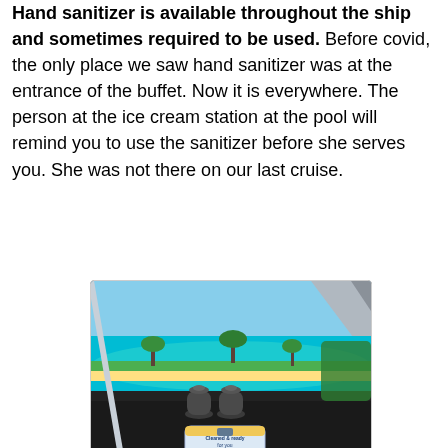Hand sanitizer is available throughout the ship and sometimes required to be used. Before covid, the only place we saw hand sanitizer was at the entrance of the buffet. Now it is everywhere. The person at the ice cream station at the pool will remind you to use the sanitizer before she serves you. She was not there on our last cruise.
[Figure (photo): Photo taken from inside a cruise ship looking out large windows at a tropical island with turquoise water and palm trees. In the foreground is a dark table with two glass salt and pepper shakers and a small blue card reading 'Cleaned & ready for you' with a cruise ship logo.]